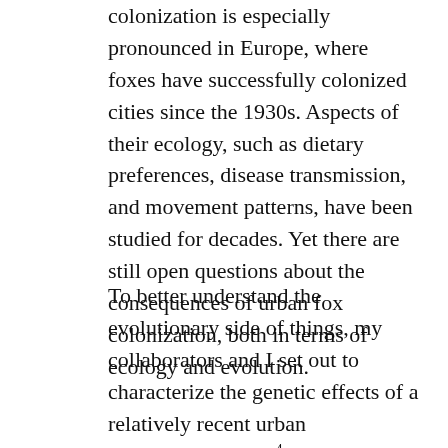colonization is especially pronounced in Europe, where foxes have successfully colonized cities since the 1930s. Aspects of their ecology, such as dietary preferences, disease transmission, and movement patterns, have been studied for decades. Yet there are still open questions about the consequences of urban fox colonization, both in terms of ecology and evolution.
To better understand the evolutionary side of things, my collaborators and I set out to characterize the genetic effects of a relatively recent urban colonization event 4. In the mid-1980s, red fox sightings in Switzerland increased dramatically after rabies was successfully eradicated. As rural populations expanded, more and more foxes moved into